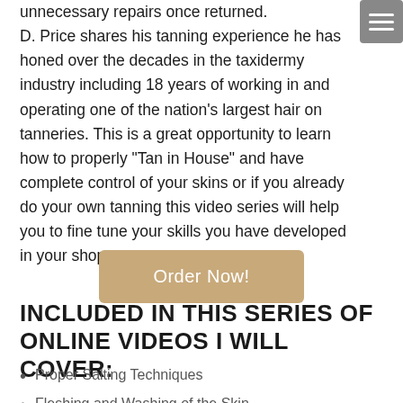unnecessary repairs once returned. D. Price shares his tanning experience he has honed over the decades in the taxidermy industry including 18 years of working in and operating one of the nation's largest hair on tanneries. This is a great opportunity to learn how to properly "Tan in House" and have complete control of your skins or if you already do your own tanning this video series will help you to fine tune your skills you have developed in your shop.
Order Now!
INCLUDED IN THIS SERIES OF ONLINE VIDEOS I WILL COVER:
Proper Salting Techniques
Fleshing and Washing of the Skin
Mixing and Discussion on Pickling